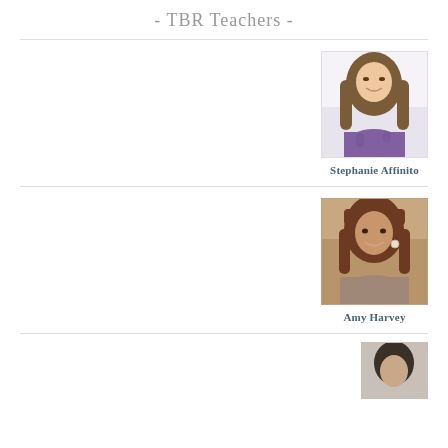- TBR Teachers -
[Figure (photo): Headshot photo of Stephanie Affinito, a woman with long brown hair, smiling, wearing a purple patterned top]
Stephanie Affinito
[Figure (photo): Headshot photo of Amy Harvey, a woman with medium-length auburn/brown hair, smiling, with hoop earrings]
Amy Harvey
[Figure (photo): Partial headshot of a third teacher, cropped at bottom of page]